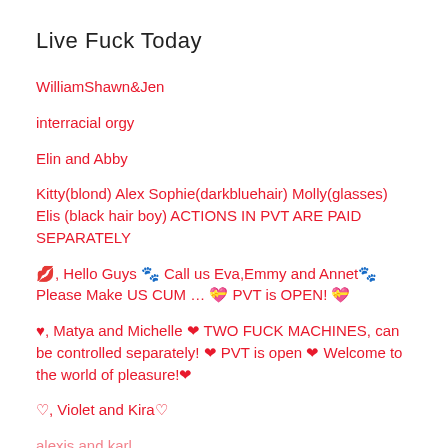Live Fuck Today
WilliamShawn&Jen
interracial orgy
Elin and Abby
Kitty(blond) Alex Sophie(darkbluehair) Molly(glasses) Elis (black hair boy) ACTIONS IN PVT ARE PAID SEPARATELY
💋, Hello Guys 🐾 Call us Eva,Emmy and Annet🐾 Please Make US CUM … 💝 PVT is OPEN! 💝
♥, Matya and Michelle ❤ TWO FUCK MACHINES, can be controlled separately! ❤ PVT is open ❤ Welcome to the world of pleasure!❤
♡, Violet and Kira♡
alexis and karl